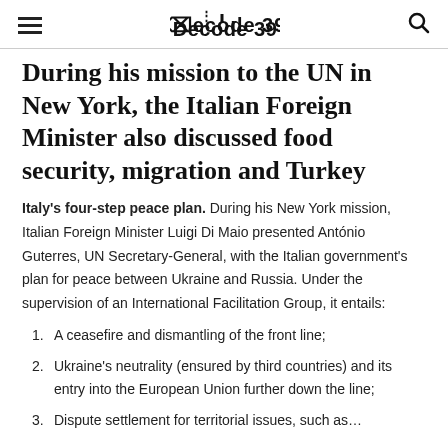Decode 39
During his mission to the UN in New York, the Italian Foreign Minister also discussed food security, migration and Turkey
Italy's four-step peace plan. During his New York mission, Italian Foreign Minister Luigi Di Maio presented António Guterres, UN Secretary-General, with the Italian government's plan for peace between Ukraine and Russia. Under the supervision of an International Facilitation Group, it entails:
A ceasefire and dismantling of the front line;
Ukraine's neutrality (ensured by third countries) and its entry into the European Union further down the line;
Dispute settlement for territorial issues, such as…